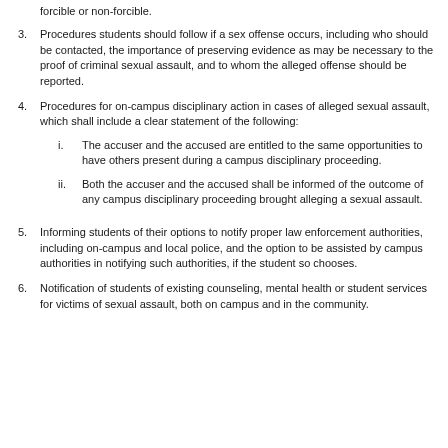forcible or non-forcible.
3. Procedures students should follow if a sex offense occurs, including who should be contacted, the importance of preserving evidence as may be necessary to the proof of criminal sexual assault, and to whom the alleged offense should be reported.
4. Procedures for on-campus disciplinary action in cases of alleged sexual assault, which shall include a clear statement of the following:
i. The accuser and the accused are entitled to the same opportunities to have others present during a campus disciplinary proceeding.
ii. Both the accuser and the accused shall be informed of the outcome of any campus disciplinary proceeding brought alleging a sexual assault.
5. Informing students of their options to notify proper law enforcement authorities, including on-campus and local police, and the option to be assisted by campus authorities in notifying such authorities, if the student so chooses.
6. Notification of students of existing counseling, mental health or student services for victims of sexual assault, both on campus and in the community.